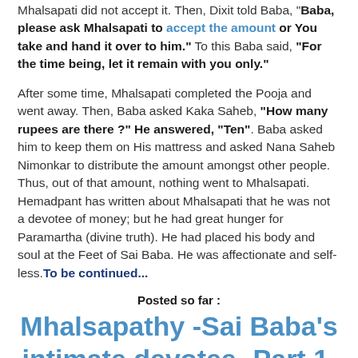Mhalsapati did not accept it. Then, Dixit told Baba, "Baba, please ask Mhalsapati to accept the amount or You take and hand it over to him." To this Baba said, "For the time being, let it remain with you only."
After some time, Mhalsapati completed the Pooja and went away. Then, Baba asked Kaka Saheb, "How many rupees are there ?" He answered, "Ten". Baba asked him to keep them on His mattress and asked Nana Saheb Nimonkar to distribute the amount amongst other people. Thus, out of that amount, nothing went to Mhalsapati. Hemadpant has written about Mhalsapati that he was not a devotee of money; but he had great hunger for Paramartha (divine truth). He had placed his body and soul at the Feet of Sai Baba. He was affectionate and self-less. To be continued...
Posted so far :
Mhalsapathy -Sai Baba's intimate devotee.-Part 1.
Mhalsapathy-Sai Baba's intimate devotee.-Part 2.